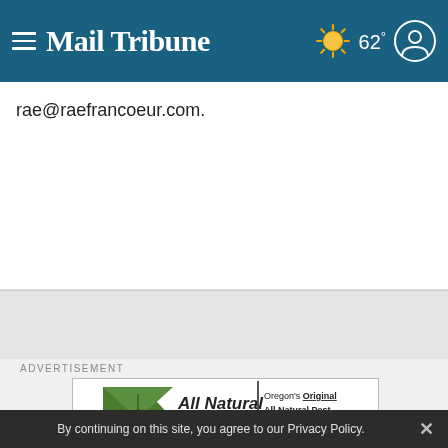Mail Tribune  ☀ 62°
rae@raefrancoeur.com.
ADVERTISEMENT
[Figure (illustration): All Natural Pest Elimination advertisement. Oregon's Original All Natural Pest Elimination Company. 1-877-NoBuggy nobuggy.com. Safer & Effective. Call Today For Your FREE Home Inspection & Estimate! 541-885-7791. We Specialize In Protecting Homes From Mice & Bats!]
By continuing on this site, you agree to our Privacy Policy.